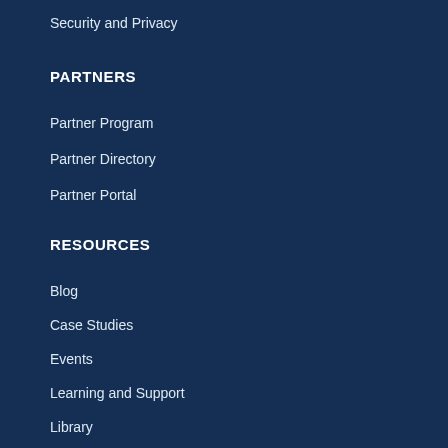Security and Privacy
PARTNERS
Partner Program
Partner Directory
Partner Portal
RESOURCES
Blog
Case Studies
Events
Learning and Support
Library
Sign Up for Our Newsletter
System Status
ABOUT